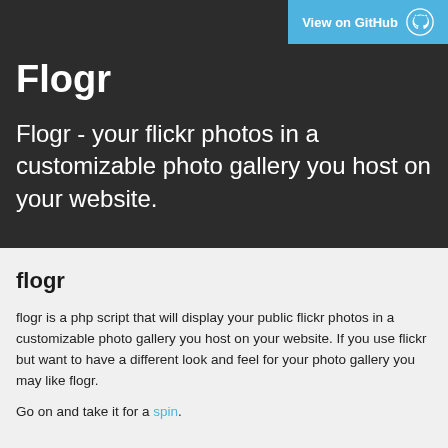[Figure (screenshot): GitHub ribbon/button in top-right corner with 'View on GitHub' text and GitHub Octocat logo on blue background]
Flogr
Flogr - your flickr photos in a customizable photo gallery you host on your website.
flogr
flogr is a php script that will display your public flickr photos in a customizable photo gallery you host on your website. If you use flickr but want to have a different look and feel for your photo gallery you may like flogr.
Go on and take it for a spin.